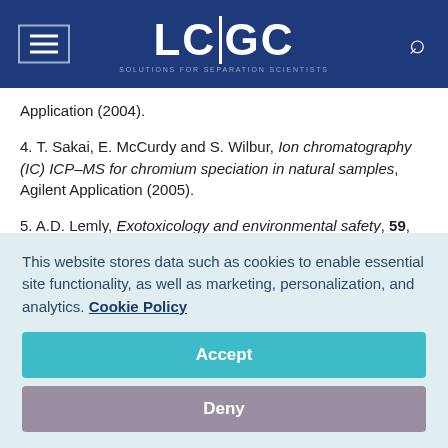LC|GC SOLUTIONS FOR SEPARATION SCIENTISTS
Application (2004).
4. T. Sakai, E. McCurdy and S. Wilbur, Ion chromatography (IC) ICP–MS for chromium speciation in natural samples, Agilent Application (2005).
5. A.D. Lemly, Exotoxicology and environmental safety, 59, 44–56 (2004).
This website stores data such as cookies to enable essential site functionality, as well as marketing, personalization, and analytics. Cookie Policy
Accept
Deny